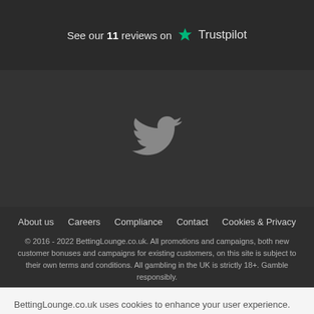See our 11 reviews on Trustpilot
[Figure (logo): Twitter bird logo in grey on dark background]
About us  Careers  Compliance  Contact  Cookies & Privacy
© 2016 - 2022 BettingLounge.co.uk. All promotions and campaigns, both new customer bonuses and campaigns for existing customers, on this site is subject to their own terms and conditions. All gambling in the UK is strictly 18+. Gamble responsibly.
BettingLounge.co.uk uses cookies to enhance your user experience. Click here for more information.
OK